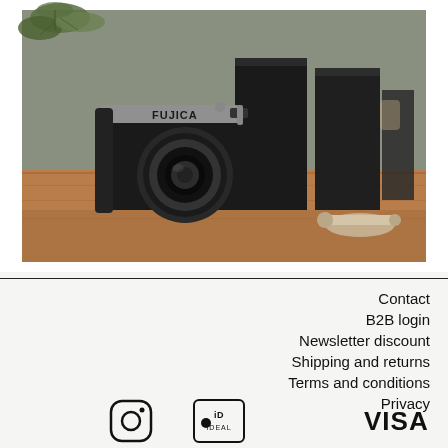[Figure (photo): A Fujica SLR film camera on a wooden surface, with black rectangular boxes and a wooden accessory in the background, along with a plant in the upper left corner.]
Contact
B2B login
Newsletter discount
Shipping and returns
Terms and conditions
Privacy
[Figure (logo): Instagram logo icon (circle with camera outline)]
[Figure (logo): iDEAL payment logo]
[Figure (logo): VISA payment logo]